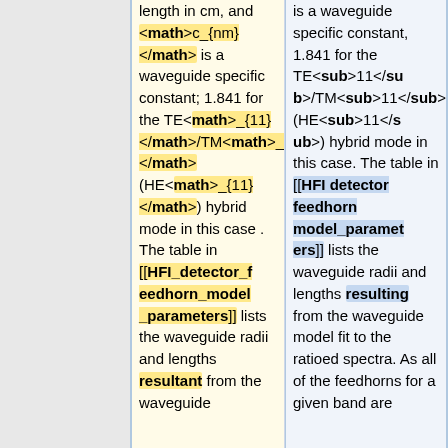length in cm, and <math>c_{nm}</math> is a waveguide specific constant; 1.841 for the TE<math>_{11}</math>/TM<math>_{11}</math> (HE<math>_{11}</math>) hybrid mode in this case . The table in [[HFI_detector_feedhorn_model_parameters]] lists the waveguide radii and lengths resultant from the waveguide
is a waveguide specific constant, 1.841 for the TE<sub>11</sub>/TM<sub>11</sub> (HE<sub>11</sub>) hybrid mode in this case. The table in [[HFI detector feedhorn model_parameters]] lists the waveguide radii and lengths resulting from the waveguide model fit to the ratioed spectra. As all of the feedhorns for a given band are